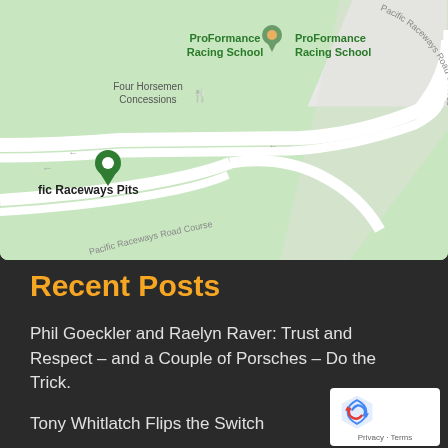[Figure (map): Google Maps screenshot showing Pacific Raceways area with road course, ProFormance Racing School location markers, Four Horsemen Concessions, and Pacific Raceways Pits labels on a green map background with white road paths.]
Recent Posts
Phil Goeckler and Raelyn Raver: Trust and Respect – and a Couple of Porsches – Do the Trick.
Tony Whitlatch Flips the Switch
Bogdan and Sheetal Berg: Taking Married Life On… at a Time